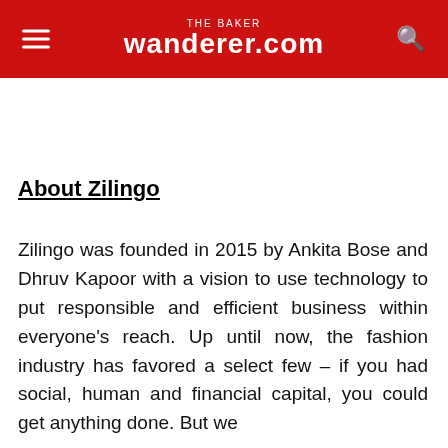THE BAKER wanderer.com
About Zilingo
Zilingo was founded in 2015 by Ankita Bose and Dhruv Kapoor with a vision to use technology to put responsible and efficient business within everyone's reach. Up until now, the fashion industry has favored a select few – if you had social, human and financial capital, you could get anything done. But we